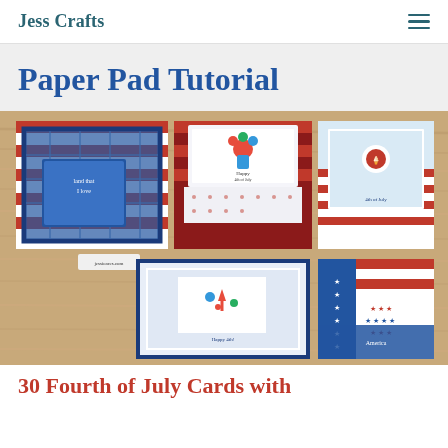Jess Crafts
Paper Pad Tutorial
[Figure (photo): Collage of five patriotic Fourth of July handmade greeting cards featuring red, white, and blue patterned paper with plaid, stripes, and stars designs, arranged on a wood surface. Cards include sentiments and decorative elements like fireworks and flowers.]
30 Fourth of July Cards with